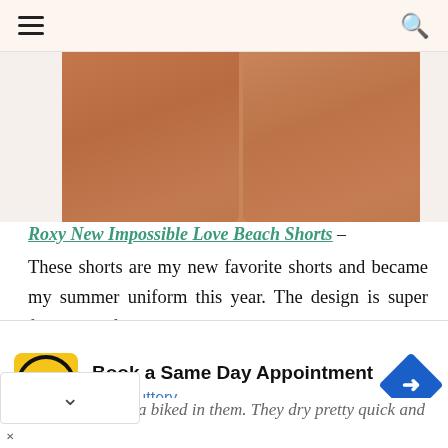☰  🔍
[Figure (photo): Close-up photo of two tanned athletic legs against a white/light background, showing the upper thigh/short area from the top]
Roxy New Impossible Love Beach Shorts – These shorts are my new favorite shorts and became my summer uniform this year. The design is super flattering for athletic legs, and there's enough coverage in the rear, but they're still short! I can hike, run, SUP, camp, and have a biked in them. They dry pretty quick and
[Figure (infographic): Advertisement banner: Hair Cuttery logo (yellow circle with HC letters), text 'Book a Same Day Appointment', 'Hair Cuttery', blue navigation diamond arrow icon]